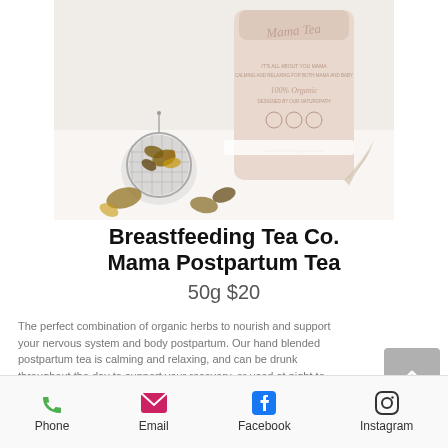[Figure (photo): Product photo of Mama Tea container (pink/beige) with loose leaf tea in a strainer ball, on a white surface]
Breastfeeding Tea Co. Mama Postpartum Tea
50g $20
The perfect combination of organic herbs to nourish and support your nervous system and body postpartum. Our hand blended postpartum tea is calming and relaxing, and can be drunk throughout the day to support your recovery, or used at night to promote restful sleep.
Phone  Email  Facebook  Instagram